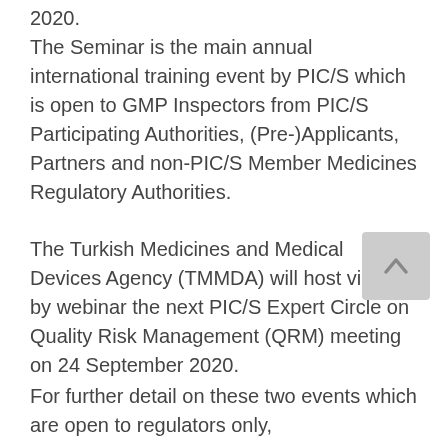2020. The Seminar is the main annual international training event by PIC/S which is open to GMP Inspectors from PIC/S Participating Authorities, (Pre-)Applicants, Partners and non-PIC/S Member Medicines Regulatory Authorities.
The Turkish Medicines and Medical Devices Agency (TMMDA) will host virtually by webinar the next PIC/S Expert Circle on Quality Risk Management (QRM) meeting on 24 September 2020.
For further detail on these two events which are open to regulators only,
Products